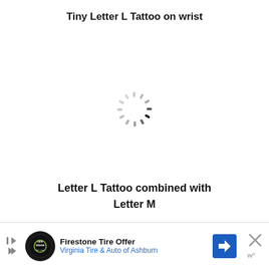Tiny Letter L Tattoo on wrist
[Figure (other): Loading spinner icon (circular dashed spinner graphic indicating image loading state)]
Letter L Tattoo combined with Letter M
[Figure (infographic): Advertisement bar: Firestone Tire Offer - Virginia Tire & Auto of Ashburn, with Firestone Auto logo, blue arrow sign, and close button]